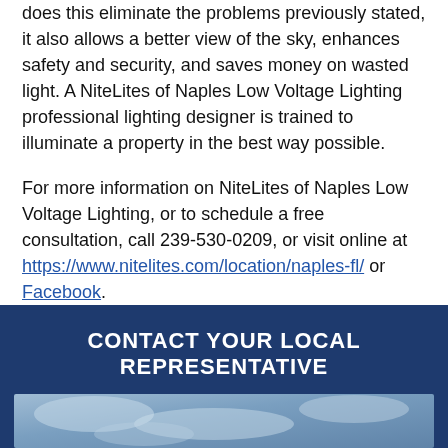does this eliminate the problems previously stated, it also allows a better view of the sky, enhances safety and security, and saves money on wasted light. A NiteLites of Naples Low Voltage Lighting professional lighting designer is trained to illuminate a property in the best way possible.
For more information on NiteLites of Naples Low Voltage Lighting, or to schedule a free consultation, call 239-530-0209, or visit online at https://www.nitelites.com/location/naples-fl/ or Facebook.
CONTACT YOUR LOCAL REPRESENTATIVE
[Figure (photo): Partial photo strip showing a blue sky with clouds, cut off at the bottom of the page.]